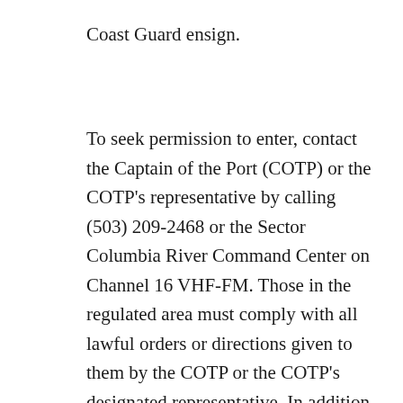Coast Guard ensign.
To seek permission to enter, contact the Captain of the Port (COTP) or the COTP's representative by calling (503) 209-2468 or the Sector Columbia River Command Center on Channel 16 VHF-FM. Those in the regulated area must comply with all lawful orders or directions given to them by the COTP or the COTP's designated representative. In addition to this notification of enforcement in the Federal Register , the Coast Guard plans to provide notification of this enforcement period via the Local Notice to Mariners and marine